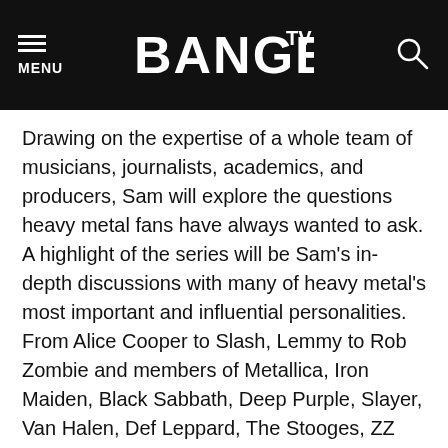MENU | BANGER TV
Drawing on the expertise of a whole team of musicians, journalists, academics, and producers, Sam will explore the questions heavy metal fans have always wanted to ask. A highlight of the series will be Sam’s in-depth discussions with many of heavy metal’s most important and influential personalities. From Alice Cooper to Slash, Lemmy to Rob Zombie and members of Metallica, Iron Maiden, Black Sabbath, Deep Purple, Slayer, Van Halen, Def Leppard, The Stooges, ZZ Top, Motley Crue, Poison, Rage Against The Machine, Alice In Chains, Korn, and many more, Sam will investigate the history, myths and intricacies of Metal.